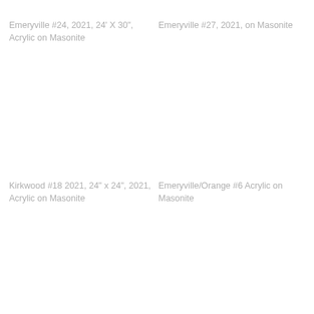Emeryville #24, 2021, 24' X 30", Acrylic on Masonite
Emeryville #27, 2021, on Masonite
Kirkwood #18 2021, 24" x 24", 2021, Acrylic on Masonite
Emeryville/Orange #6 Acrylic on Masonite